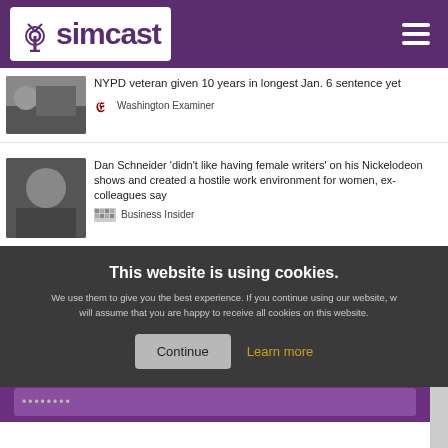simcast — Powered by Microsoft News
NYPD veteran given 10 years in longest Jan. 6 sentence yet — Washington Examiner
Dan Schneider 'didn't like having female writers' on his Nickelodeon shows and created a hostile work environment for women, ex-colleagues say — Business Insider
This website is using cookies.
We use them to give you the best experience. If you continue using our website, we will assume that you are happy to receive all cookies on this website.
Continue   Learn more
PASSWORD
••••••••